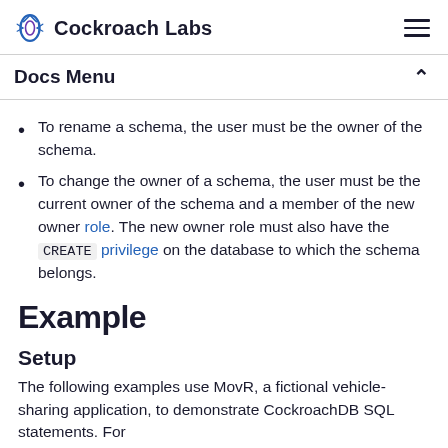Cockroach Labs
Docs Menu
To rename a schema, the user must be the owner of the schema.
To change the owner of a schema, the user must be the current owner of the schema and a member of the new owner role. The new owner role must also have the CREATE privilege on the database to which the schema belongs.
Example
Setup
The following examples use MovR, a fictional vehicle-sharing application, to demonstrate CockroachDB SQL statements. For